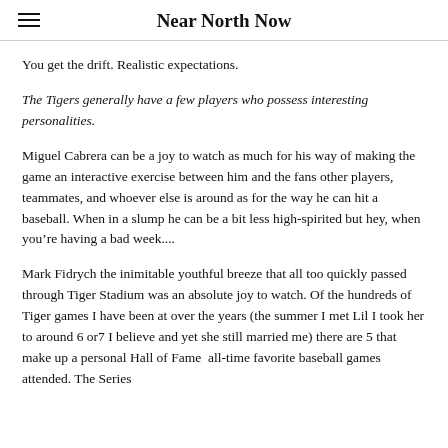Near North Now
You get the drift. Realistic expectations.
The Tigers generally have a few players who possess interesting personalities.
Miguel Cabrera can be a joy to watch as much for his way of making the game an interactive exercise between him and the fans other players, teammates, and whoever else is around as for the way he can hit a baseball. When in a slump he can be a bit less high-spirited but hey, when you’re having a bad week....
Mark Fidrych the inimitable youthful breeze that all too quickly passed through Tiger Stadium was an absolute joy to watch. Of the hundreds of Tiger games I have been at over the years (the summer I met Lil I took her to around 6 or7 I believe and yet she still married me) there are 5 that make up a personal Hall of Fame  all-time favorite baseball games attended. The Series